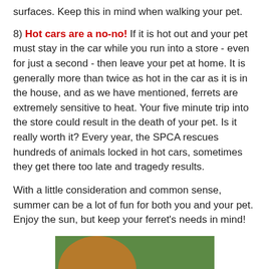surfaces. Keep this in mind when walking your pet.
8) Hot cars are a no-no! If it is hot out and your pet must stay in the car while you run into a store - even for just a second - then leave your pet at home. It is generally more than twice as hot in the car as it is in the house, and as we have mentioned, ferrets are extremely sensitive to heat. Your five minute trip into the store could result in the death of your pet. Is it really worth it? Every year, the SPCA rescues hundreds of animals locked in hot cars, sometimes they get there too late and tragedy results.
With a little consideration and common sense, summer can be a lot of fun for both you and your pet. Enjoy the sun, but keep your ferret's needs in mind!
[Figure (photo): A ferret resting on green grass with an orange object nearby, wearing a blue harness/collar.]